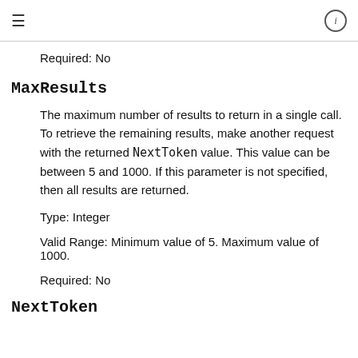≡ ⓘ
Required: No
MaxResults
The maximum number of results to return in a single call. To retrieve the remaining results, make another request with the returned NextToken value. This value can be between 5 and 1000. If this parameter is not specified, then all results are returned.
Type: Integer
Valid Range: Minimum value of 5. Maximum value of 1000.
Required: No
NextToken